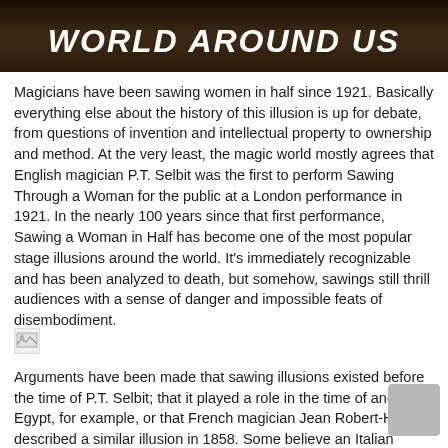[Figure (photo): Dark background image with white bold italic text reading 'WORLD AROUND US' at the top of the page]
Magicians have been sawing women in half since 1921. Basically everything else about the history of this illusion is up for debate, from questions of invention and intellectual property to ownership and method. At the very least, the magic world mostly agrees that English magician P.T. Selbit was the first to perform Sawing Through a Woman for the public at a London performance in 1921. In the nearly 100 years since that first performance, Sawing a Woman in Half has become one of the most popular stage illusions around the world. It's immediately recognizable and has been analyzed to death, but somehow, sawings still thrill audiences with a sense of danger and impossible feats of disembodiment.
[Figure (photo): Broken/missing image placeholder icon]
Arguments have been made that sawing illusions existed before the time of P.T. Selbit; that it played a role in the time of ancient Egypt, for example, or that French magician Jean Robert-Houdin described a similar illusion in 1858. Some believe an Italian